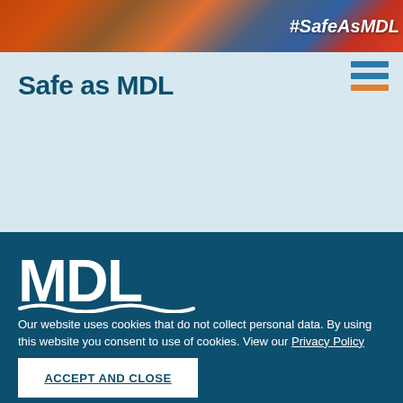[Figure (photo): Banner photo of industrial/safety equipment with hashtag #SafeAsMDL text overlay in white italic]
Safe as MDL
[Figure (logo): MDL logo in white on dark teal background with wave underline]
Our website uses cookies that do not collect personal data. By using this website you consent to use of cookies. View our Privacy Policy
ACCEPT AND CLOSE